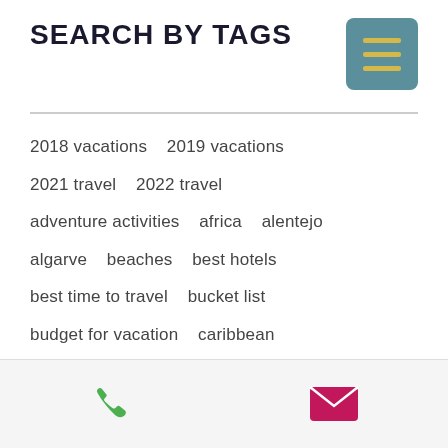SEARCH BY TAGS
2018 vacations   2019 vacations
2021 travel   2022 travel
adventure activities   africa   alentejo
algarve   beaches   best hotels
best time to travel   bucket list
budget for vacation   caribbean
castle in ireland   coastal towns
coronavirus   costa rica   COVID-19   croatia
croatian islands   culinary experience
driving in europe   dubrovnik croatia
[Figure (other): Footer bar with phone icon (green) and email/envelope icon (magenta/pink)]